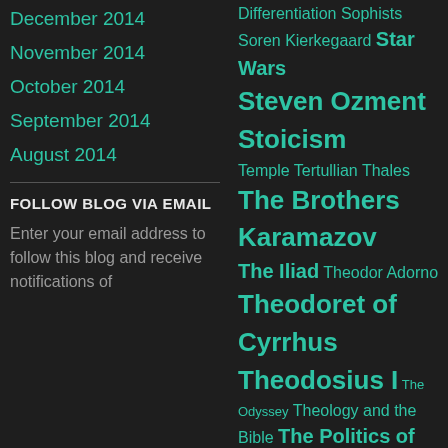December 2014
November 2014
October 2014
September 2014
August 2014
FOLLOW BLOG VIA EMAIL
Enter your email address to follow this blog and receive notifications of
Differentiation Sophists Soren Kierkegaard Star Wars Steven Ozment Stoicism Temple Tertullian Thales The Brothers Karamazov The Iliad Theodor Adorno Theodoret of Cyrrhus Theodosius I The Odyssey Theology and the Bible The Politics of Identity The Reformations The Republic Thomas Aquinas Thomas de Zengotita Torture and Eucharist